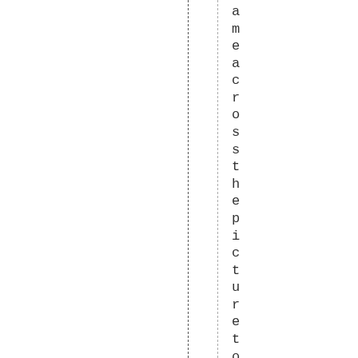ameacrossthepicturetotherigh t .